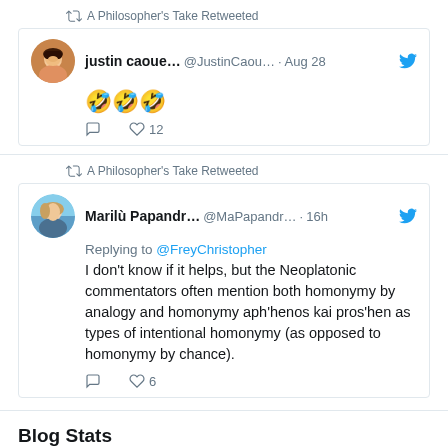A Philosopher's Take Retweeted
justin caoue... @JustinCaou... · Aug 28
🤣🤣🤣
12 likes
A Philosopher's Take Retweeted
Marilù Papandr... @MaPapandr... · 16h
Replying to @FreyChristopher
I don't know if it helps, but the Neoplatonic commentators often mention both homonymy by analogy and homonymy aph'henos kai pros'hen as types of intentional homonymy (as opposed to homonymy by chance).
6 likes
Blog Stats
529,323 hits